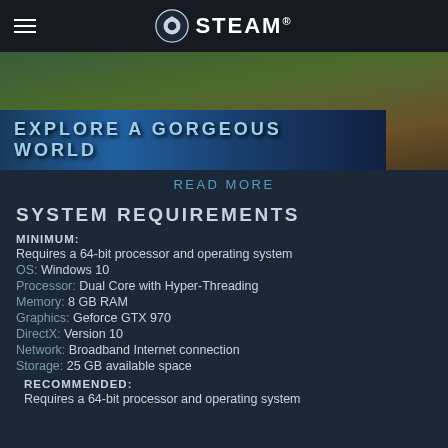STEAM
[Figure (screenshot): Game banner with text 'EXPLORE A GORGEOUS WORLD' over a landscape background]
READ MORE
SYSTEM REQUIREMENTS
MINIMUM:
Requires a 64-bit processor and operating system
OS: Windows 10
Processor: Dual Core with Hyper-Threading
Memory: 8 GB RAM
Graphics: Geforce GTX 970
DirectX: Version 10
Network: Broadband Internet connection
Storage: 25 GB available space
RECOMMENDED:
Requires a 64-bit processor and operating system